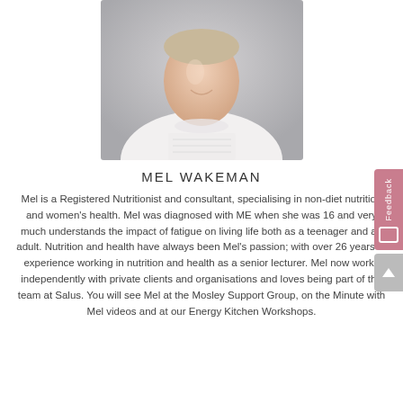[Figure (photo): Professional headshot of Mel Wakeman, a woman in a white top, smiling, against a light grey background.]
MEL WAKEMAN
Mel is a Registered Nutritionist and consultant, specialising in non-diet nutrition and women's health. Mel was diagnosed with ME when she was 16 and very much understands the impact of fatigue on living life both as a teenager and an adult. Nutrition and health have always been Mel's passion; with over 26 years of experience working in nutrition and health as a senior lecturer. Mel now works independently with private clients and organisations and loves being part of the team at Salus. You will see Mel at the Mosley Support Group, on the Minute with Mel videos and at our Energy Kitchen Workshops.